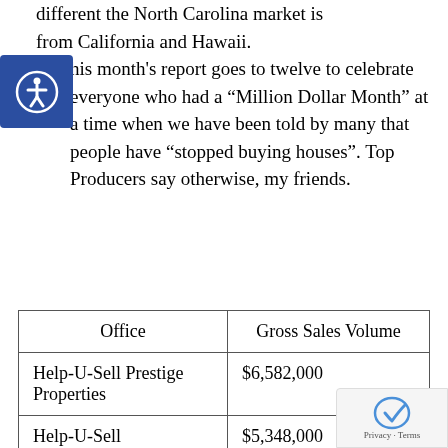different the North Carolina market is from California and Hawaii.
This month's report goes to twelve to celebrate everyone who had a “Million Dollar Month” at a time when we have been told by many that people have “stopped buying houses”. Top Producers say otherwise, my friends.
| Office | Gross Sales Volume |
| --- | --- |
| Help-U-Sell Prestige Properties | $6,582,000 |
| Help-U-Sell Honolulu Properties | $5,348,000 |
| Help-U-Sell |  |